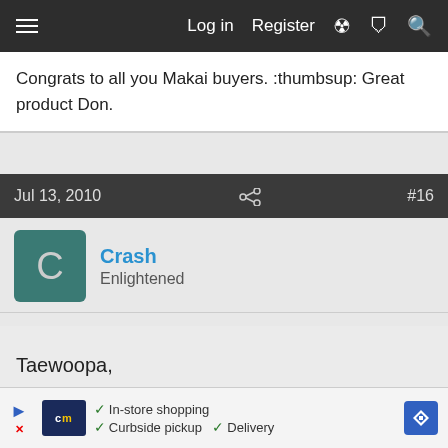Log in  Register
Congrats to all you Makai buyers. :thumbsup: Great product Don.
Jul 13, 2010  #16
Crash
Enlightened
Taewoopa,

Glad you took my advice on getting a Haiku.

Bill S.

Last edited: Jul 13, 2010
[Figure (screenshot): Advertisement banner for cm (Curbside Manager?) showing In-store shopping, Curbside pickup, Delivery options]